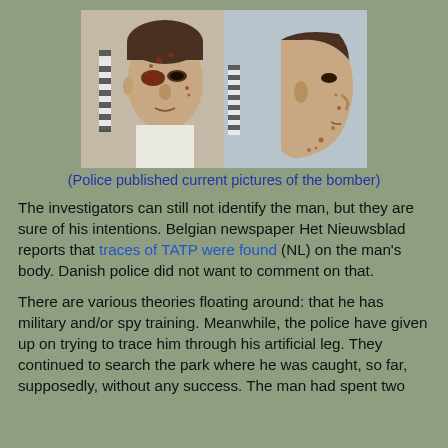[Figure (photo): Two side-by-side mug-shot style photos of a man with facial injuries, cuts and marks on his face. Left photo shows frontal view, right photo shows profile/side view. Police booking photos.]
(Police published current pictures of the bomber)
The investigators can still not identify the man, but they are sure of his intentions. Belgian newspaper Het Nieuwsblad reports that traces of TATP were found (NL) on the man's body. Danish police did not want to comment on that.
There are various theories floating around: that he has military and/or spy training. Meanwhile, the police have given up on trying to trace him through his artificial leg. They continued to search the park where he was caught, so far, supposedly, without any success. The man had spent two